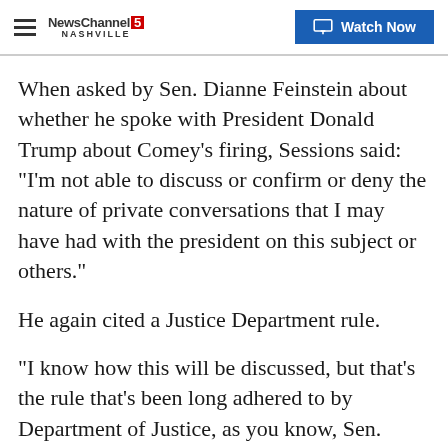NewsChannel 5 Nashville | Watch Now
When asked by Sen. Dianne Feinstein about whether he spoke with President Donald Trump about Comey's firing, Sessions said: "I'm not able to discuss or confirm or deny the nature of private conversations that I may have had with the president on this subject or others."
He again cited a Justice Department rule.
"I know how this will be discussed, but that's the rule that's been long adhered to by Department of Justice, as you know, Sen. Feinstein."
The Justice Department did not immediately respond to a request for the DOJ policy Sessions cited during